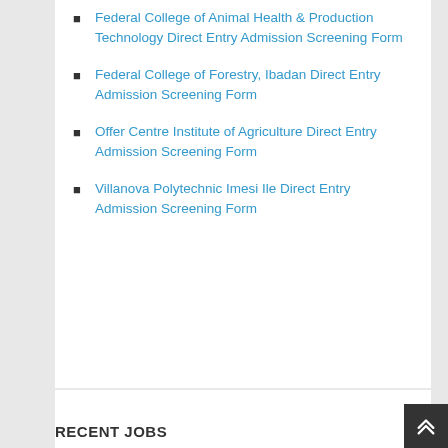Federal College of Animal Health & Production Technology Direct Entry Admission Screening Form
Federal College of Forestry, Ibadan Direct Entry Admission Screening Form
Offer Centre Institute of Agriculture Direct Entry Admission Screening Form
Villanova Polytechnic Imesi Ile Direct Entry Admission Screening Form
RECENT JOBS